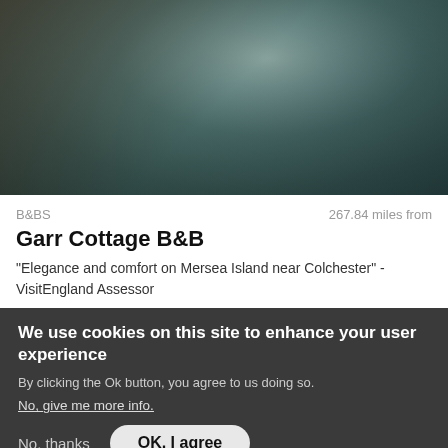[Figure (photo): Photo of a bed with grey/brown bedding and teal/blue towels or items on top, dimly lit bedroom scene]
B&BS	267.84 miles from
Garr Cottage B&B
"Elegance and comfort on Mersea Island near Colchester" - VisitEngland Assessor
We use cookies on this site to enhance your user experience
By clicking the Ok button, you agree to us doing so.
No, give me more info.
No, thanks	OK, I agree